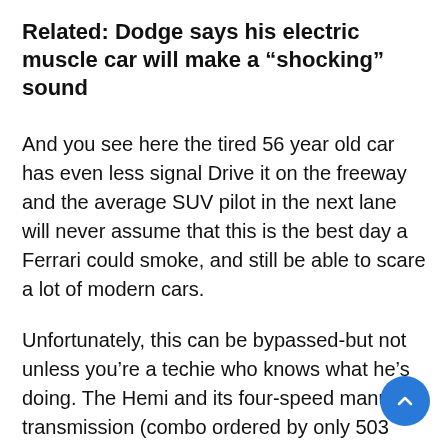Related: Dodge says his electric muscle car will make a “shocking” sound
And you see here the tired 56 year old car has even less signal Drive it on the freeway and the average SUV pilot in the next lane will never assume that this is the best day a Ferrari could smoke, and still be able to scare a lot of modern cars.
Unfortunately, this can be bypassed-but not unless you’re a techie who knows what he’s doing. The Hemi and its four-speed manual transmission (combo ordered by only 503 people in 1966) still